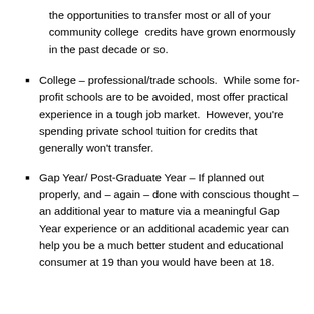the opportunities to transfer most or all of your community college  credits have grown enormously in the past decade or so.
College – professional/trade schools.  While some for-profit schools are to be avoided, most offer practical experience in a tough job market.  However, you're spending private school tuition for credits that generally won't transfer.
Gap Year/ Post-Graduate Year – If planned out properly, and – again – done with conscious thought – an additional year to mature via a meaningful Gap Year experience or an additional academic year can help you be a much better student and educational consumer at 19 than you would have been at 18.